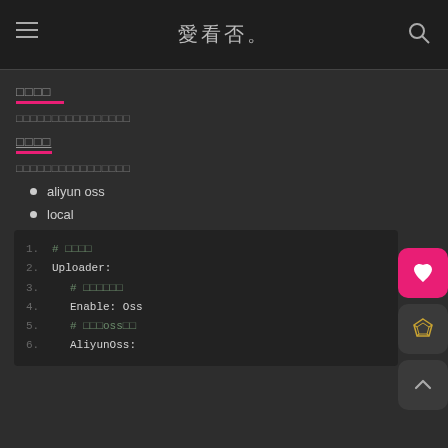愛看否
□□□□
□□□□□□□□□□□□□□□□
□□□□
□□□□□□□□□□□□□□□□
aliyun oss
local
1.  # □□□□
2.  Uploader:
3.     # □□□□□□
4.     Enable: Oss
5.     # □□□oss□□
6.     AliyunOss: